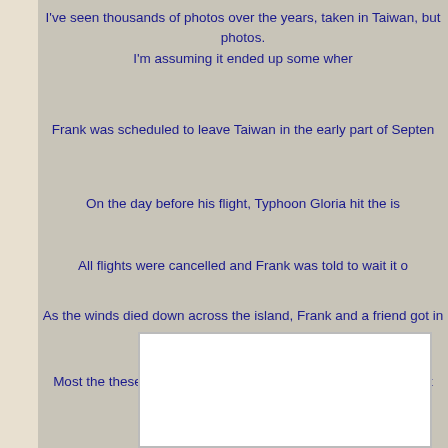I've seen thousands of photos over the years, taken in Taiwan, but photos. I'm assuming it ended up some wher
Frank was scheduled to leave Taiwan in the early part of Septen
On the day before his flight, Typhoon Gloria hit the is
All flights were cancelled and Frank was told to wait it o
As the winds died down across the island, Frank and a friend got in a photos of the damage
Most the these photos will have no identification, but show what the areas.
[Figure (photo): White photo box area at bottom of page]